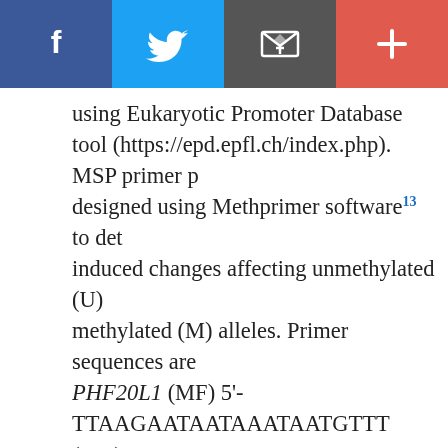[Figure (other): Social media sharing bar with Facebook, Twitter, email, and plus buttons]
using Eukaryotic Promoter Database tool (https://epd.epfl.ch/index.php). MSP primer pairs were designed using Methprimer software¹³ to detect bisulfite-induced changes affecting unmethylated (U) and methylated (M) alleles. Primer sequences are as follows: PHF20L1 (MF) 5’-TTAAGAATAATAAATAATGTTT... (MR) 5’-GTAACTCACGAAAATTAAACCCG-3’; (UF) 5’-AAGAATAATAAATAATGTTTTTTTGT-3’; (UR) 5’-ATAACTCACAAAAATTAAACCCAAA-3’. The size of polymerase chain reaction (PCR) products was ... methylated and 203 bp for unmethylated amplicons in PHF20L1. PCR for bisulfite-converted DNA was performed using EpiTect MSP Kit (Qiagen). Twenty nanograms of DNA, 10 μM of each primer and HotStart mix MSP (Qiagen, Valencia USA) were combined in a reaction volume of 10 μL. For methylated, PHF...